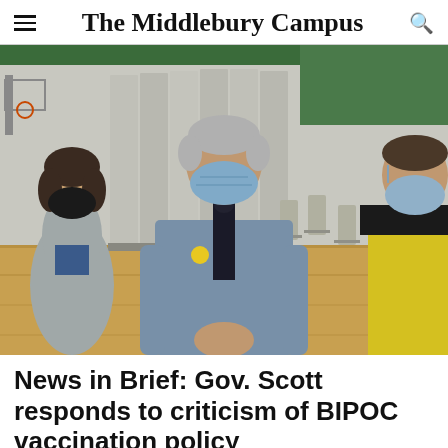The Middlebury Campus
[Figure (photo): Governor Scott wearing a blue face mask and a yellow sticker on his gray short-sleeve button-up shirt with a dark tie, standing in a gymnasium vaccination site with folding room dividers and chairs in the background, speaking with two women also wearing masks.]
News in Brief: Gov. Scott responds to criticism of BIPOC vaccination policy